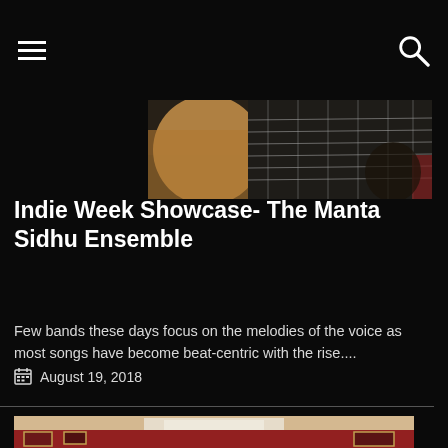[Figure (photo): Close-up of hands playing an acoustic guitar, showing the guitar body, strings, and fretboard against a dark background]
Indie Week Showcase- The Manta Sidhu Ensemble
Few bands these days focus on the melodies of the voice as most songs have become beat-centric with the rise....
August 19, 2018
[Figure (photo): Interior of an art gallery with red walls, framed paintings, and white cursive text reading 'Salon' overlaid on the image]